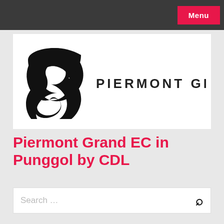Menu
[Figure (logo): Piermont Grand logo: black yin-yang-style swoosh icon on the left, and 'PIERMONT GRAND' text in uppercase spaced letters on the right, all on white background.]
Piermont Grand EC in Punggol by CDL
Search …
BREAKING NEWS  cted to Attract Healthy Buying Interest, Esp   September 3, 2022